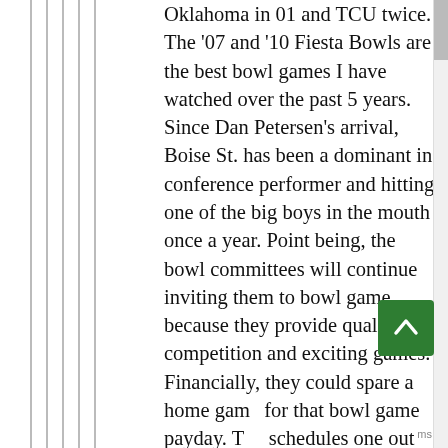Oklahoma in 01 and TCU twice. The '07 and '10 Fiesta Bowls are the best bowl games I have watched over the past 5 years. Since Dan Petersen's arrival, Boise St. has been a dominant in conference performer and hitting one of the big boys in the mouth once a year. Point being, the bowl committees will continue inviting them to bowl game because they provide quality competition and exciting games. Financially, they could spare a home game for that bowl game payday. The schedules one out of conference BCS school per year, which is more than most BCS schools. If